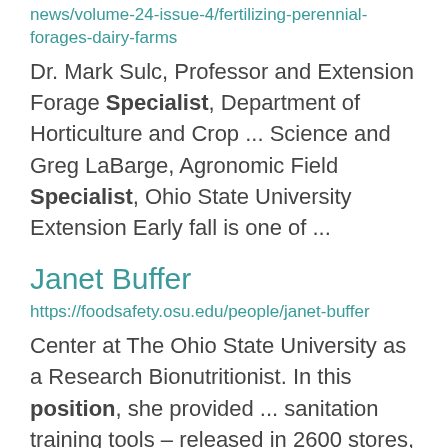news/volume-24-issue-4/fertilizing-perennial-forages-dairy-farms
Dr. Mark Sulc, Professor and Extension Forage Specialist, Department of Horticulture and Crop ... Science and Greg LaBarge, Agronomic Field Specialist, Ohio State University Extension Early fall is one of ...
Janet Buffer
https://foodsafety.osu.edu/people/janet-buffer
Center at The Ohio State University as a Research Bionutritionist. In this position, she provided ... sanitation training tools – released in 2600 stores, the development